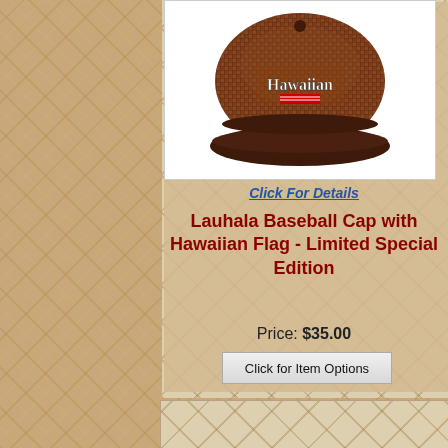[Figure (photo): Lauhala woven baseball cap with Hawaiian flag embroidery, viewed from above, brown/tan woven texture with dark brim]
Click For Details
Lauhala Baseball Cap with Hawaiian Flag - Limited Special Edition
Price: $35.00
Click for Item Options